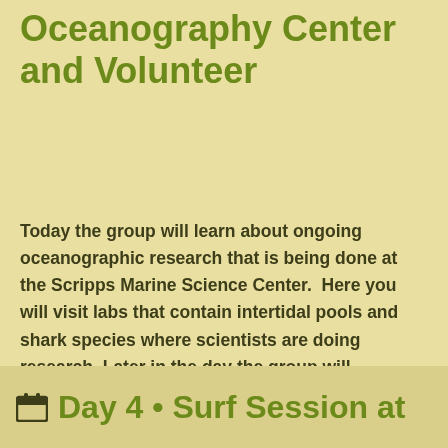Oceanography Center and Volunteer
Today the group will learn about ongoing oceanographic research that is being done at the Scripps Marine Science Center.  Here you will visit labs that contain intertidal pools and shark species where scientists are doing research. Later in the day the group will volunteer with an ocean cleanup project and a conservation project.  Your group will have a surf session down the beach from Scripps University.
Day 4 • Surf Session at